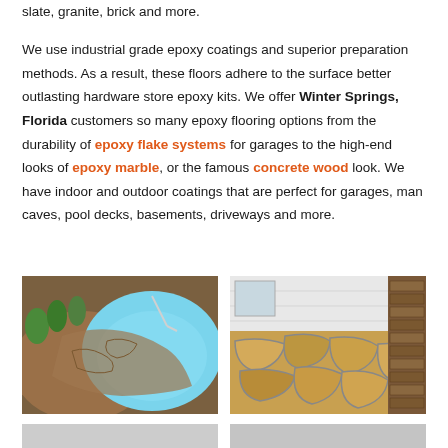slate, granite, brick and more.
We use industrial grade epoxy coatings and superior preparation methods. As a result, these floors adhere to the surface better outlasting hardware store epoxy kits. We offer Winter Springs, Florida customers so many epoxy flooring options from the durability of epoxy flake systems for garages to the high-end looks of epoxy marble, or the famous concrete wood look. We have indoor and outdoor coatings that are perfect for garages, man caves, pool decks, basements, driveways and more.
[Figure (photo): Pool area with stamped concrete decking showing decorative stone pattern around in-ground swimming pool with shrubs and gravel landscaping]
[Figure (photo): Stamped concrete patio with large flagstone pattern next to white siding house exterior and brick column]
[Figure (photo): Partial view of additional photo - bottom row left]
[Figure (photo): Partial view of additional photo - bottom row right]